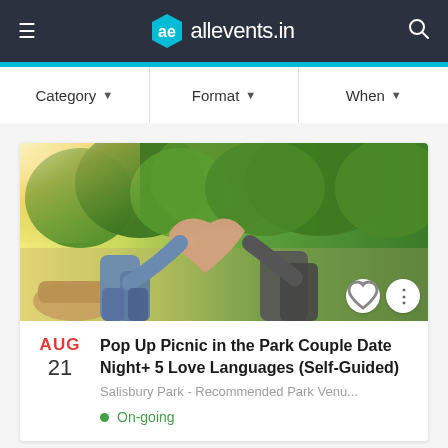≡  ae allevents.in  🔍
Category ▼   Format ▼   When ▼
[Figure (photo): Outdoor park scene with green trees and sunlight. Two people form a heart shape with their hands in the foreground, with a picnic basket visible. Warm golden sunlight on the left, lush green trees in background.]
AUG 21 — Pop Up Picnic in the Park Couple Date Night+ 5 Love Languages (Self-Guided)
Salisbury Park - Recommended Park Venu...
On-going